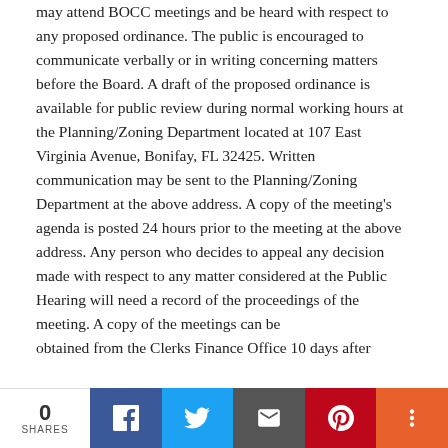may attend BOCC meetings and be heard with respect to any proposed ordinance. The public is encouraged to communicate verbally or in writing concerning matters before the Board. A draft of the proposed ordinance is available for public review during normal working hours at the Planning/Zoning Department located at 107 East Virginia Avenue, Bonifay, FL 32425. Written communication may be sent to the Planning/Zoning Department at the above address. A copy of the meeting's agenda is posted 24 hours prior to the meeting at the above address. Any person who decides to appeal any decision made with respect to any matter considered at the Public Hearing will need a record of the proceedings of the meeting. A copy of the meetings can be

obtained from the Clerks Finance Office 10 days after
0 SHARES | Facebook | Twitter | Email | Pinterest | More